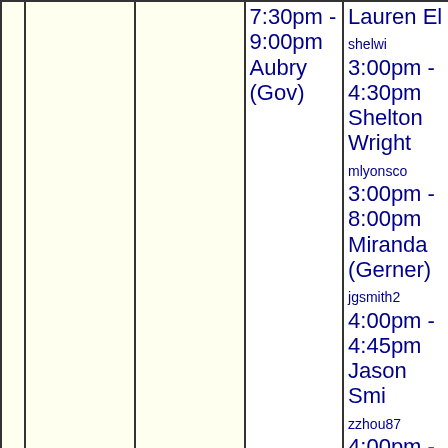|  |  |  | Col4 | Col5 |
| --- | --- | --- | --- | --- |
|  |  |  | 7:30pm - 9:00pm Aubry (Gov) | Lauren El
shelwi
3:00pm - 4:30pm
Shelton Wright
mlyonsco
3:00pm - 8:00pm
Miranda (Gerner)
jgsmith2
4:00pm - 4:45pm
Jason Smi
zzhou87
4:00pm - 5:00pm
zhicheng zhou
chagan
5:00pm - 6:00pm
Cassidy
cjm99
5:00pm |